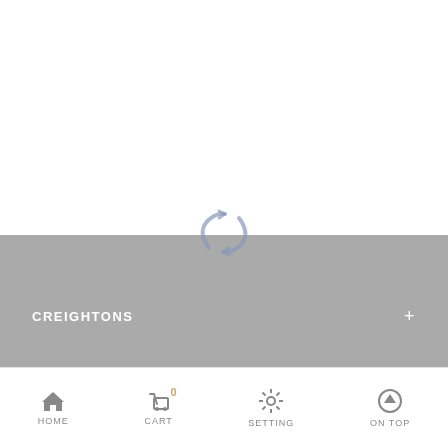[Figure (screenshot): Loading spinner icon — two curved arrows forming a circular arrow shape, in muted blue-gray color, partially overlapping the top of the gray panel]
CREIGHTONS +
CUSTOMER SERVICE +
HOME  CART 0  SETTING  ON TOP